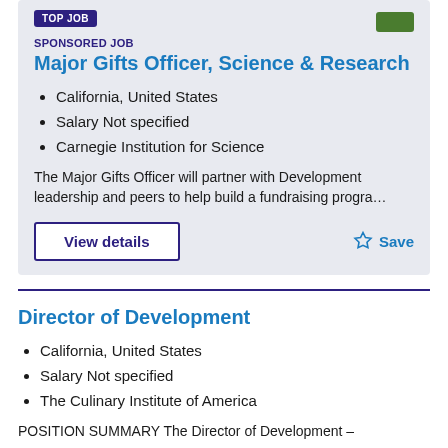TOP JOB
SPONSORED JOB
Major Gifts Officer, Science & Research
California, United States
Salary Not specified
Carnegie Institution for Science
The Major Gifts Officer will partner with Development leadership and peers to help build a fundraising progra…
View details
Save
Director of Development
California, United States
Salary Not specified
The Culinary Institute of America
POSITION SUMMARY The Director of Development –